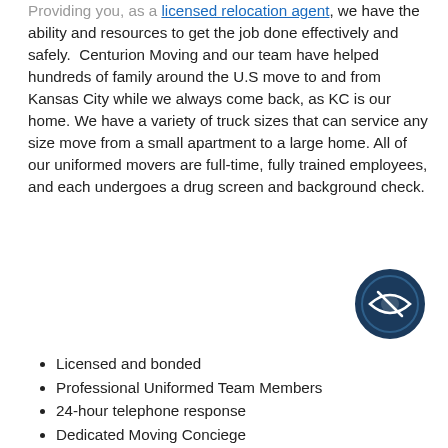...Providing you, as a licensed relocation agent, we have the ability and resources to get the job done effectively and safely. Centurion Moving and our team have helped hundreds of family around the U.S move to and from Kansas City while we always come back, as KC is our home. We have a variety of truck sizes that can service any size move from a small apartment to a large home. All of our uniformed movers are full-time, fully trained employees, and each undergoes a drug screen and background check.
[Figure (logo): Dark navy circular icon with an eye/shield symbol]
Licensed and bonded
Professional Uniformed Team Members
24-hour telephone response
Dedicated Moving Conciege
Full-service packing options
Quality packing materials
Custom crating available for high-value items
Floor & furniture protection
Unpacking & debris removal